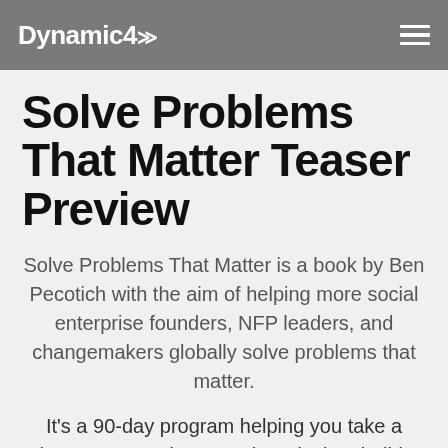Dynamic4
Solve Problems That Matter Teaser Preview
Solve Problems That Matter is a book by Ben Pecotich with the aim of helping more social enterprise founders, NFP leaders, and changemakers globally solve problems that matter.
It's a 90-day program helping you take a human-centred approach to design, build, and launch your social enterprise idea… and build momentum.